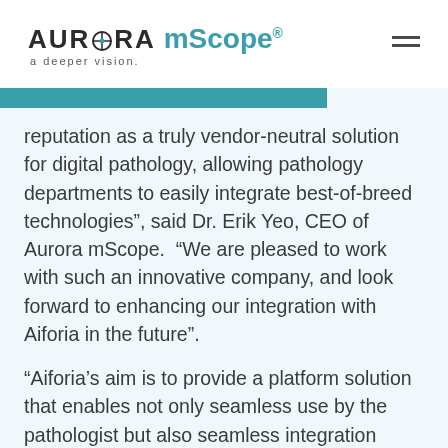AURORA mScope® a deeper vision.
reputation as a truly vendor-neutral solution for digital pathology, allowing pathology departments to easily integrate best-of-breed technologies”, said Dr. Erik Yeo, CEO of Aurora mScope.  “We are pleased to work with such an innovative company, and look forward to enhancing our integration with Aiforia in the future”.
“Aiforia’s aim is to provide a platform solution that enables not only seamless use by the pathologist but also seamless integration between